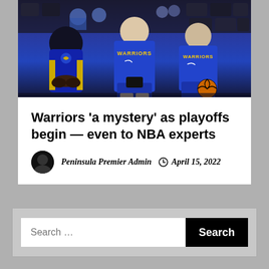[Figure (photo): Golden State Warriors players in blue and gold uniforms sitting on the bench before a game. Players wearing WARRIORS jerseys visible in center and right. An arena with dark seats visible in background.]
Warriors 'a mystery' as playoffs begin — even to NBA experts
Peninsula Premier Admin  April 15, 2022
Search ...